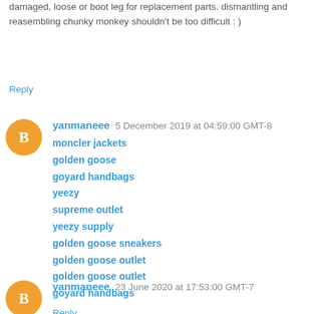damaged, loose or boot leg for replacement parts. dismantling and reasembling chunky monkey shouldn't be too difficult : )
Reply
yanmaneee  5 December 2019 at 04:59:00 GMT-8
moncler jackets
golden goose
goyard handbags
yeezy
supreme outlet
yeezy supply
golden goose sneakers
golden goose outlet
golden goose outlet
goyard handbags
Reply
yanmaneee  23 June 2020 at 17:53:00 GMT-7